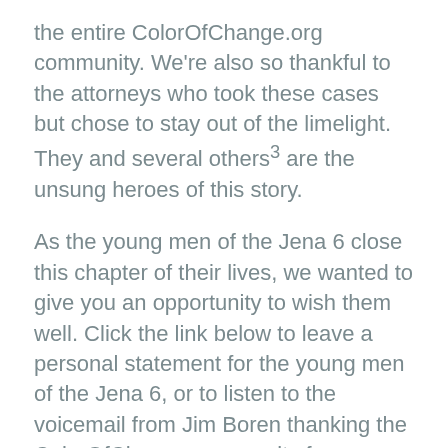the entire ColorOfChange.org community. We're also so thankful to the attorneys who took these cases but chose to stay out of the limelight. They and several others³ are the unsung heroes of this story.
As the young men of the Jena 6 close this chapter of their lives, we wanted to give you an opportunity to wish them well. Click the link below to leave a personal statement for the young men of the Jena 6, or to listen to the voicemail from Jim Boren thanking the ColorOfChange community for our work:
While this is a great moment, it's important to remember that if it were not for the extreme nature of this case, most of us wouldn't have known